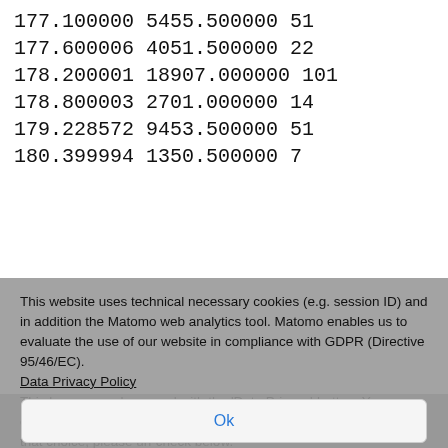177.100000 5455.500000 51
177.600006 4051.500000 22
178.200001 18907.000000 101
178.800003 2701.000000 14
179.228572 9453.500000 51
180.399994 1350.500000 7
This website uses technical necessary cookies (e.g. session ID) and in addition the Matomo web analytics tool. Matomo enables us to evaluate the use of our website in compliance with GDPR (Directive 95/46/EC). Data Privacy Policy
This banner can be opend with the 'Data Privacy'-button. Your consent to the use of Matomo can be revoked any time. To make that choice, please un-check below.
☑ Tracking is enabled. Click here to decline.
Ok